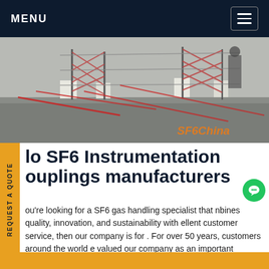MENU
[Figure (photo): Outdoor industrial/electrical fencing area with chain-link fences and white posts, with 'SF6China' watermark in orange bottom-right corner.]
lo SF6 Instrumentation Couplings manufacturers
ou're looking for a SF6 gas handling specialist that nbines quality, innovation, and sustainability with ellent customer service, then our company is for . For over 50 years, customers around the world e valued our company as an important partner for professional and emission-free SF6 gas handling.Get price